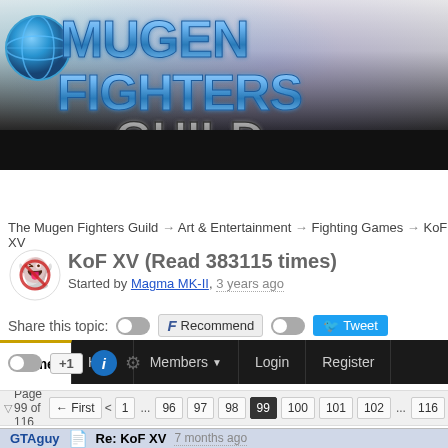[Figure (logo): Mugen Fighters Guild logo banner with globe graphic and stylized metallic text]
Home | Help | Members | Login | Register
The Mugen Fighters Guild → Art & Entertainment → Fighting Games → KoF XV
KoF XV (Read 383115 times)
Started by Magma MK-II, 3 years ago
Share this topic: [toggle] F Recommend [toggle] Tweet +1 i [gear]
Page 99 of 116 ← First < 1 ... 96 97 98 99 100 101 102 ... 116 > La
GTAguy [icon] Re: KoF XV 7 months ago